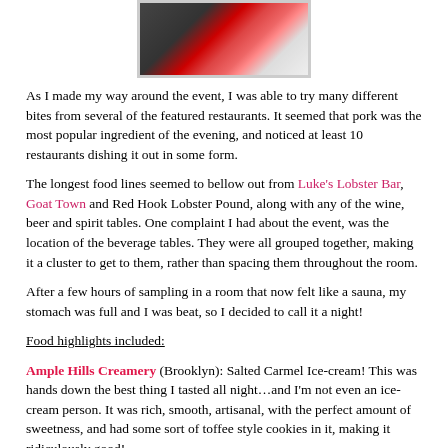[Figure (photo): A photo showing red flowers (poppies/gerberas) at an event, partially visible at top of page, framed with a light border.]
As I made my way around the event, I was able to try many different bites from several of the featured restaurants. It seemed that pork was the most popular ingredient of the evening, and noticed at least 10 restaurants dishing it out in some form.
The longest food lines seemed to bellow out from Luke's Lobster Bar, Goat Town and Red Hook Lobster Pound, along with any of the wine, beer and spirit tables. One complaint I had about the event, was the location of the beverage tables. They were all grouped together, making it a cluster to get to them, rather than spacing them throughout the room.
After a few hours of sampling in a room that now felt like a sauna, my stomach was full and I was beat, so I decided to call it a night!
Food highlights included:
Ample Hills Creamery (Brooklyn): Salted Carmel Ice-cream! This was hands down the best thing I tasted all night…and I'm not even an ice-cream person. It was rich, smooth, artisanal, with the perfect amount of sweetness, and had some sort of toffee style cookies in it, making it ridiculously good!